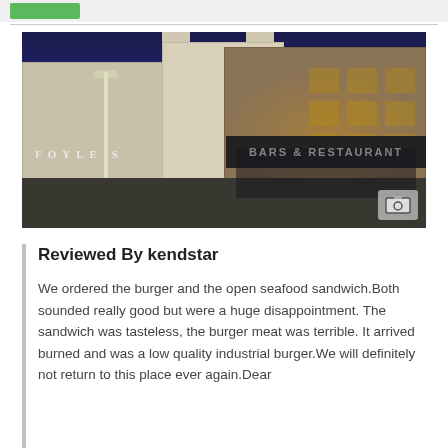[Figure (photo): Nighttime exterior photo of a pub/restaurant building with stone facade on the right, white rendered building with castellated tower in the center, and Foyle's Hotel signage on the left. A 'Bars & Restaurant' sign is visible. People are gathered outside. Street lighting illuminates the scene against a dark blue night sky.]
Reviewed By kendstar
We ordered the burger and the open seafood sandwich.Both sounded really good but were a huge disappointment. The sandwich was tasteless, the burger meat was terrible. It arrived burned and was a low quality industrial burger.We will definitely not return to this place ever again.Dear